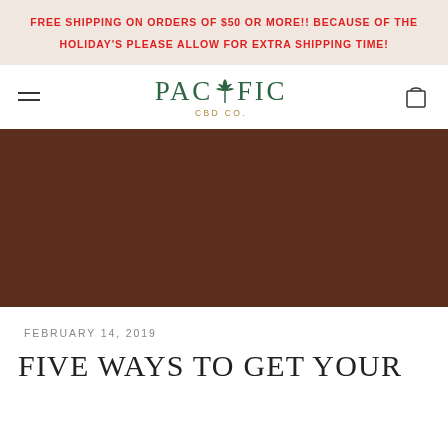FREE SHIPPING ON ORDERS OF $50 OR MORE!! BECAUSE OF THE HOLIDAY'S PLEASE ALLOW FOR EXTRA SHIPPING TIME!
[Figure (logo): Pacific CBD Co. logo with cannabis leaf icon, green lettering, and gold subtitle text]
[Figure (photo): Dark brown hero image background for blog post]
FEBRUARY 14, 2019
FIVE WAYS TO GET YOUR